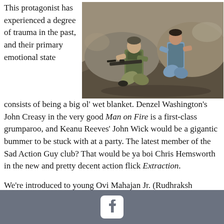This protagonist has experienced a degree of trauma in the past, and their primary emotional state
[Figure (photo): Action movie still showing two men in a rocky outdoor setting, one armed with a rifle in tactical gear, the other in casual clothing]
consists of being a big ol' wet blanket. Denzel Washington's John Creasy in the very good Man on Fire is a first-class grumparoo, and Keanu Reeves' John Wick would be a gigantic bummer to be stuck with at a party. The latest member of the Sad Action Guy club? That would be ya boi Chris Hemsworth in the new and pretty decent action flick Extraction.
We're introduced to young Ovi Mahajan Jr. (Rudhraksh Jaiswal) a tween living a real good news/bad news kind of life in Bangladesh. The good news is that he's a kind and smart kid who will likely go far in life. The bad news is that he might not go that far since his pops, Ovi Mahajan Sr. (Pankaj Tripathi), is
Facebook icon